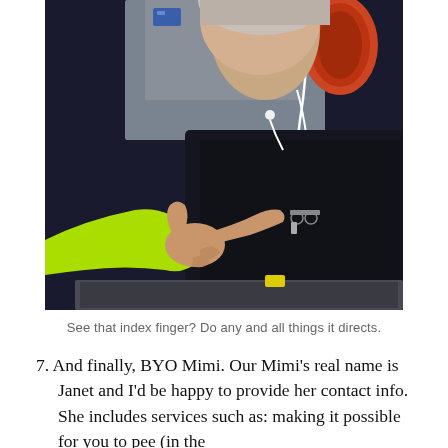[Figure (photo): A close-up photo taken inside an airplane cabin. A child wearing a bright yellow-green sleeve extends an index finger pointing toward an adult who has white earbuds/headphones with an orange headset, dark clothing, and glasses clipped to their shirt. The adult appears to be looking at the child's finger gesture.]
See that index finger? Do any and all things it directs.
7. And finally, BYO Mimi. Our Mimi's real name is Janet and I'd be happy to provide her contact info. She includes services such as: making it possible for you to pee (in the